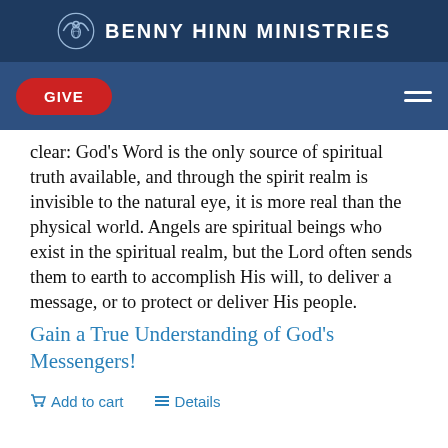BENNY HINN MINISTRIES
clear: God's Word is the only source of spiritual truth available, and through the spirit realm is invisible to the natural eye, it is more real than the physical world. Angels are spiritual beings who exist in the spiritual realm, but the Lord often sends them to earth to accomplish His will, to deliver a message, or to protect or deliver His people.
Gain a True Understanding of God's Messengers!
Add to cart   Details